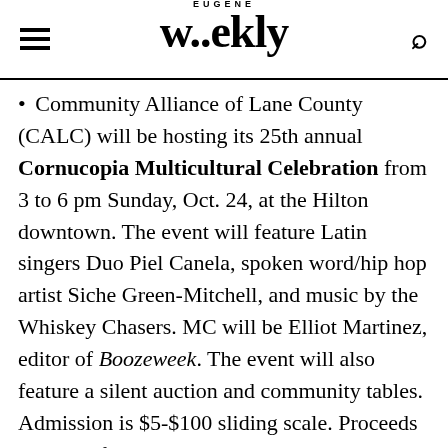EUGENE Weekly
Community Alliance of Lane County (CALC) will be hosting its 25th annual Cornucopia Multicultural Celebration from 3 to 6 pm Sunday, Oct. 24, at the Hilton downtown. The event will feature Latin singers Duo Piel Canela, spoken word/hip hop artist Siche Green-Mitchell, and music by the Whiskey Chasers. MC will be Elliot Martinez, editor of Boozeweek. The event will also feature a silent auction and community tables. Admission is $5-$100 sliding scale. Proceeds will benefit CALC's work to educate and mobilize for peace, human dignity, and racial, social and economic justice.